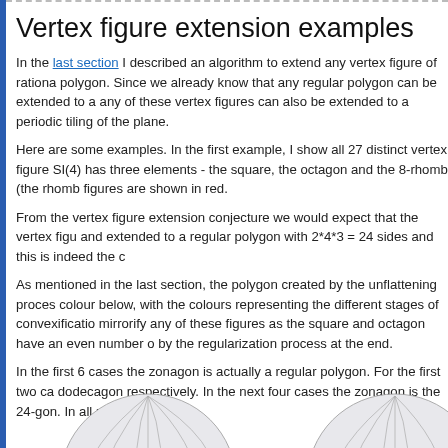Vertex figure extension examples
In the last section I described an algorithm to extend any vertex figure of rational polygon. Since we already know that any regular polygon can be extended to a any of these vertex figures can also be extended to a periodic tiling of the plane.
Here are some examples. In the first example, I show all 27 distinct vertex figures SI(4) has three elements - the square, the octagon and the 8-rhomb (the rhomb figures are shown in red.
From the vertex figure extension conjecture we would expect that the vertex figures and extended to a regular polygon with 2*4*3 = 24 sides and this is indeed the c
As mentioned in the last section, the polygon created by the unflattening process colour below, with the colours representing the different stages of convexification mirrorify any of these figures as the square and octagon have an even number of by the regularization process at the end.
In the first 6 cases the zonagon is actually a regular polygon. For the first two cases dodecagon respectively. In the next four cases the zonagon is the 24-gon. In all polygon.
[Figure (illustration): Two spherical tiling diagrams showing vertex figure extensions, partially cropped at the bottom of the page. Red and blue highlighted polygons visible on the right side of the left sphere.]